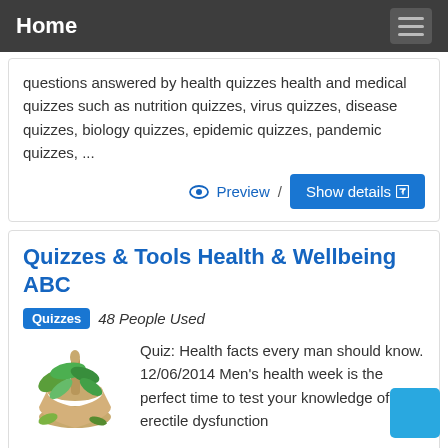Home
questions answered by health quizzes health and medical quizzes such as nutrition quizzes, virus quizzes, disease quizzes, biology quizzes, epidemic quizzes, pandemic quizzes, ...
👁 Preview / Show details ↗
Quizzes & Tools Health & Wellbeing ABC
Quizzes   48 People Used
[Figure (illustration): Mortar and pestle with green herbs/leaves, herbal medicine illustration]
Quiz: Health facts every man should know. 12/06/2014 Men's health week is the perfect time to test your knowledge of erectile dysfunction baldness, male fertility and a bunch of other issues that